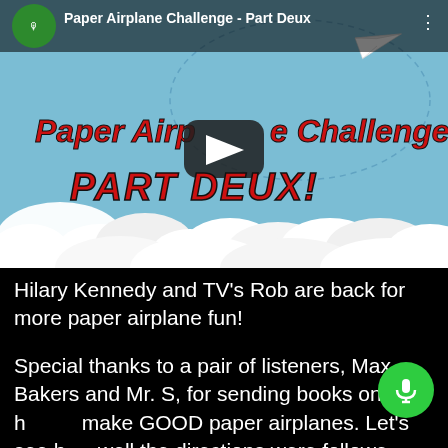[Figure (screenshot): YouTube video thumbnail for 'Paper Airplane Challenge - Part Deux'. Sky blue background with clouds, a paper airplane flying, red bold text reading 'Paper Airplane Challenge PART DEUX!' with a YouTube play button overlay. Channel icon visible top left.]
Hilary Kennedy and TV's Rob are back for more paper airplane fun!
Special thanks to a pair of listeners, Max Bakers and Mr. S, for sending books on how to make GOOD paper airplanes. Let's see how well the directions were followed.